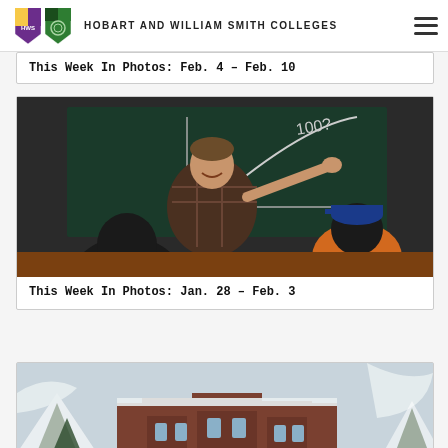Hobart and William Smith Colleges
This Week In Photos: Feb. 4 – Feb. 10
[Figure (photo): A smiling male instructor in a plaid shirt pointing at a graph drawn on a chalkboard that reads '100?' with a curve, with students in the foreground]
This Week In Photos: Jan. 28 – Feb. 3
[Figure (photo): A snow-covered campus quad with a large stone collegiate gothic building in the background, framed by snow-laden evergreen tree branches]